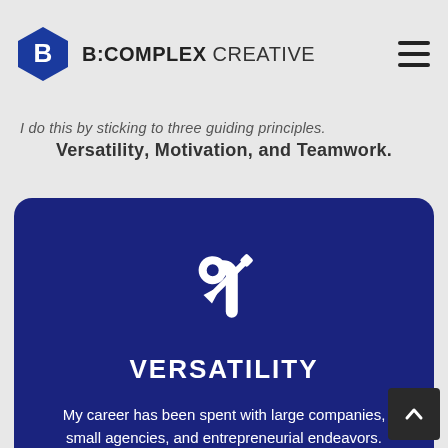B:COMPLEX CREATIVE
I do this by sticking to three guiding principles.
Versatility, Motivation, and Teamwork.
[Figure (illustration): Tools/wrench and screwdriver crossed icon in white on dark blue background]
VERSATILITY
My career has been spent with large companies, small agencies, and entrepreneurial endeavors.